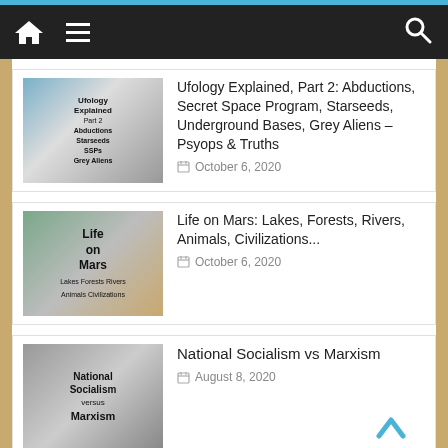Navigation bar with home, menu, search icons
[Figure (screenshot): Thumbnail for Ufology Explained Part 2 article]
Ufology Explained, Part 2: Abductions, Secret Space Program, Starseeds, Underground Bases, Grey Aliens – Psyops & Truths
October 6, 2020
[Figure (screenshot): Thumbnail for Life on Mars article]
Life on Mars: Lakes, Forests, Rivers, Animals, Civilizations...
October 6, 2020
[Figure (screenshot): Thumbnail for National Socialism vs Marxism article]
National Socialism vs Marxism
August 8, 2020
[Figure (screenshot): Thumbnail for National Socialism vs Liberalism article]
National Socialism vs Liberalism, 'Democracy' and Capitalism